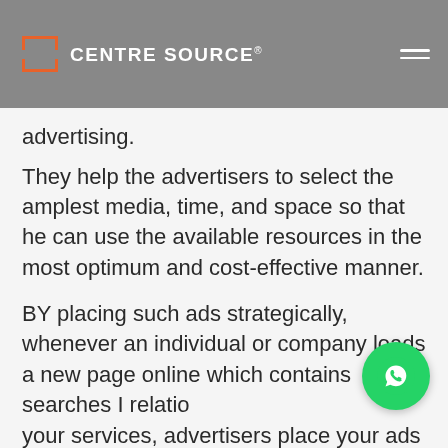[Figure (logo): Centre Source logo with orange bracket icon and white text on grey header bar, plus hamburger menu]
advertising.
They help the advertisers to select the amplest media, time, and space so that he can use the available resources in the most optimum and cost-effective manner.
BY placing such ads strategically, whenever an individual or company loads a new page online which contains searches I related to your services, advertisers place your ads to grab the attention of the audience to attract and convert them as potential.
[Figure (illustration): Green circular WhatsApp phone icon button in bottom right corner]